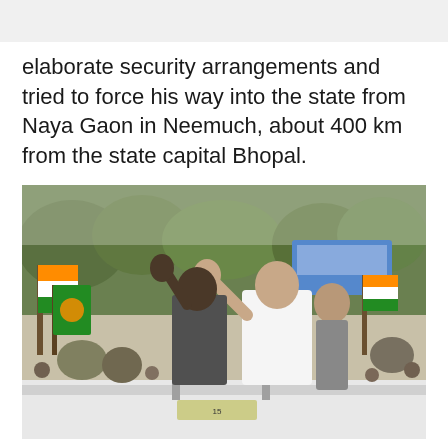elaborate security arrangements and tried to force his way into the state from Naya Gaon in Neemuch, about 400 km from the state capital Bhopal.
[Figure (photo): Congress vice president Rahul Gandhi waving from an open vehicle, surrounded by party workers holding Congress flags, during a rally. Senior party leaders visible behind him.]
Source: b'Congress vice president Rahul Gandhi and other senior party leaders were detained by